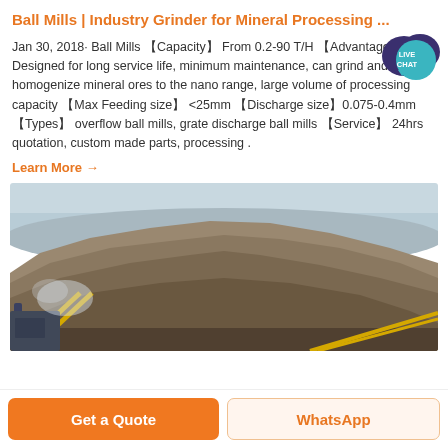Ball Mills | Industry Grinder for Mineral Processing ...
Jan 30, 2018· Ball Mills 【Capacity】 From 0.2-90 T/H 【Advantages】Designed for long service life, minimum maintenance, can grind and homogenize mineral ores to the nano range, large volume of processing capacity 【Max Feeding size】 <25mm 【Discharge size】0.075-0.4mm 【Types】 overflow ball mills, grate discharge ball mills 【Service】 24hrs quotation, custom made parts, processing .
Learn More →
[Figure (photo): Industrial mineral processing site showing a large pile of crushed rock/ore with conveyor belt and yellow support structure in foreground, against a hazy sky.]
Get a Quote
WhatsApp